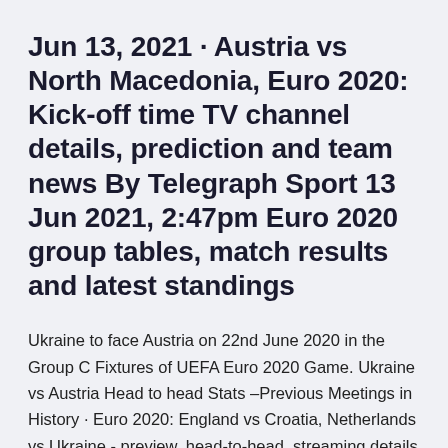Jun 13, 2021 · Austria vs North Macedonia, Euro 2020: Kick-off time TV channel details, prediction and team news By Telegraph Sport 13 Jun 2021, 2:47pm Euro 2020 group tables, match results and latest standings
Ukraine to face Austria on 22nd June 2020 in the Group C Fixtures of UEFA Euro 2020 Game. Ukraine vs Austria Head to head Stats –Previous Meetings in History · Euro 2020: England vs Croatia, Netherlands vs Ukraine - preview, head-to-head, streaming details England will take on Croatia in a Group D game at the Euro 2020 on